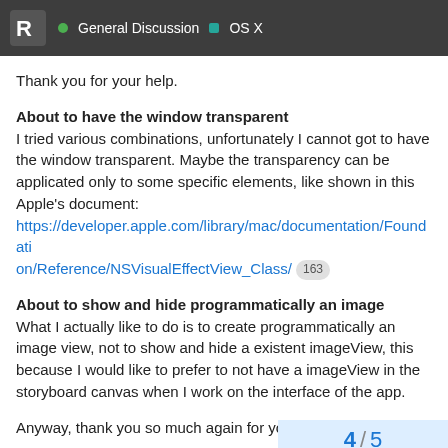General Discussion · OS X
Thank you for your help.
About to have the window transparent
I tried various combinations, unfortunately I cannot got to have the window transparent. Maybe the transparency can be applicated only to some specific elements, like shown in this Apple's document:
https://developer.apple.com/library/mac/documentation/Foundation/Reference/NSVisualEffectView_Class/ 163
About to show and hide programmatically an image
What I actually like to do is to create programmatically an image view, not to show and hide a existent imageView, this because I would like to prefer to not have a imageView in the storyboard canvas when I work on the interface of the app.
Anyway, thank you so much again for your help.
4 / 5